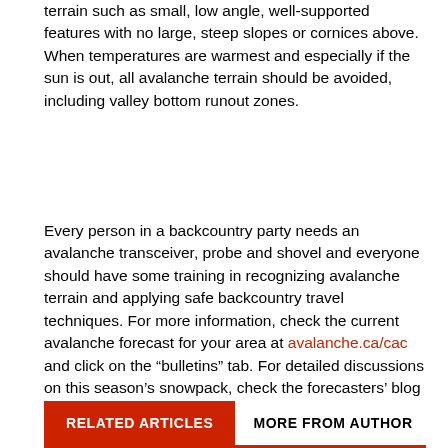terrain such as small, low angle, well-supported features with no large, steep slopes or cornices above. When temperatures are warmest and especially if the sun is out, all avalanche terrain should be avoided, including valley bottom runout zones.
Every person in a backcountry party needs an avalanche transceiver, probe and shovel and everyone should have some training in recognizing avalanche terrain and applying safe backcountry travel techniques. For more information, check the current avalanche forecast for your area at avalanche.ca/cac and click on the "bulletins" tab. For detailed discussions on this season's snowpack, check the forecasters' blog at blogs.avalanche.ca.
RELATED ARTICLES   MORE FROM AUTHOR